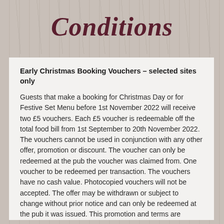Conditions
Early Christmas Booking Vouchers – selected sites only
Guests that make a booking for Christmas Day or for Festive Set Menu before 1st November 2022 will receive two £5 vouchers. Each £5 voucher is redeemable off the total food bill from 1st September to 20th November 2022. The vouchers cannot be used in conjunction with any other offer, promotion or discount. The voucher can only be redeemed at the pub the voucher was claimed from. One voucher to be redeemed per transaction. The vouchers have no cash value. Photocopied vouchers will not be accepted. The offer may be withdrawn or subject to change without prior notice and can only be redeemed at the pub it was issued. This promotion and terms are governed by English Law and are subject to the exclusive jurisdiction